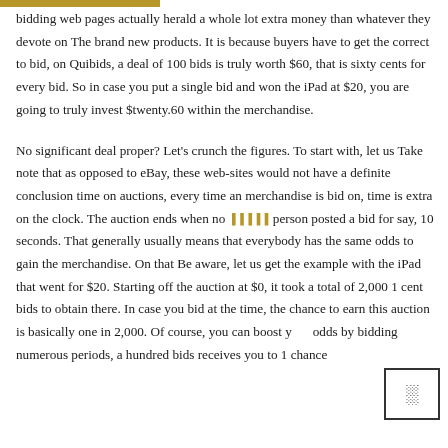bidding web pages actually herald a whole lot extra money than whatever they devote on The brand new products. It is because buyers have to get the correct to bid, on Quibids, a deal of 100 bids is truly worth $60, that is sixty cents for every bid. So in case you put a single bid and won the iPad at $20, you are going to truly invest $twenty.60 within the merchandise.
No significant deal proper? Let's crunch the figures. To start with, let us Take note that as opposed to eBay, these web-sites would not have a definite conclusion time on auctions, every time an merchandise is bid on, time is extra on the clock. The auction ends when no [symbol] person posted a bid for say, 10 seconds. That generally usually means that everybody has the same odds to gain the merchandise. On that Be aware, let us get the example with the iPad that went for $20. Starting off the auction at $0, it took a total of 2,000 1 cent bids to obtain there. In case you bid at the time, the chance to earn this auction is basically one in 2,000. Of course, you can boost your odds by bidding numerous periods, a hundred bids receives you to 1 chance